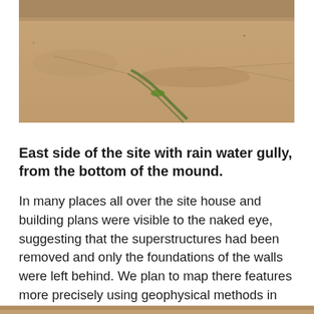[Figure (photo): Aerial or ground-level photograph of a sandy, arid archaeological site showing the east side with a rain water gully and sparse green vegetation, viewed from the bottom of the mound.]
East side of the site with rain water gully, from the bottom of the mound.
In many places all over the site house and building plans were visible to the naked eye, suggesting that the superstructures had been removed and only the foundations of the walls were left behind. We plan to map there features more precisely using geophysical methods in the future.
[Figure (photo): Partial photograph visible at the very bottom of the page, appears to be another site photo (cropped).]